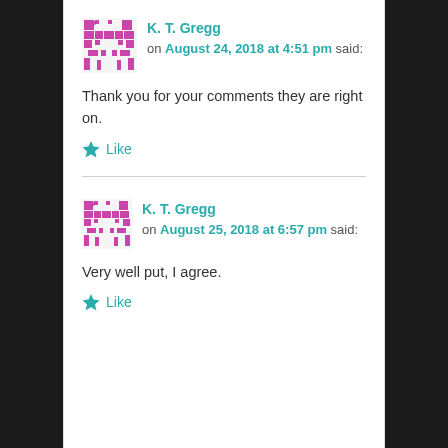K. T. Gregg on August 24, 2018 at 4:51 pm said:
Thank you for your comments they are right on.
Like
K. T. Gregg on August 25, 2018 at 6:57 pm said:
Very well put, I agree.
Like